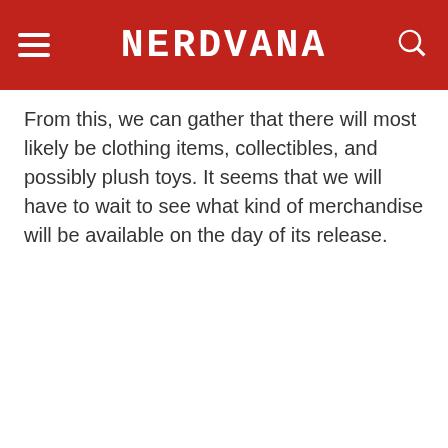NERDVANA
From this, we can gather that there will most likely be clothing items, collectibles, and possibly plush toys. It seems that we will have to wait to see what kind of merchandise will be available on the day of its release.